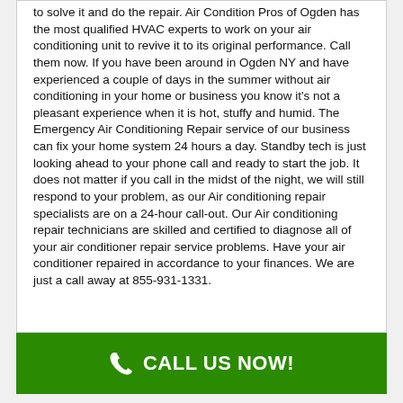to solve it and do the repair. Air Condition Pros of Ogden has the most qualified HVAC experts to work on your air conditioning unit to revive it to its original performance. Call them now. If you have been around in Ogden NY and have experienced a couple of days in the summer without air conditioning in your home or business you know it's not a pleasant experience when it is hot, stuffy and humid. The Emergency Air Conditioning Repair service of our business can fix your home system 24 hours a day. Standby tech is just looking ahead to your phone call and ready to start the job. It does not matter if you call in the midst of the night, we will still respond to your problem, as our Air conditioning repair specialists are on a 24-hour call-out. Our Air conditioning repair technicians are skilled and certified to diagnose all of your air conditioner repair service problems. Have your air conditioner repaired in accordance to your finances. We are just a call away at 855-931-1331.
[Figure (other): Green call-to-action bar with phone icon and text 'CALL US NOW!']